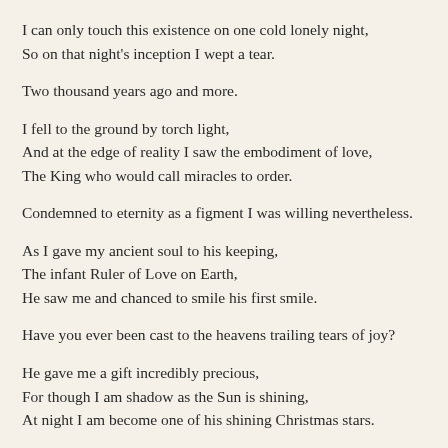I can only touch this existence on one cold lonely night,
So on that night's inception I wept a tear.
Two thousand years ago and more.
I fell to the ground by torch light,
And at the edge of reality I saw the embodiment of love,
The King who would call miracles to order.
Condemned to eternity as a figment I was willing nevertheless.
As I gave my ancient soul to his keeping,
The infant Ruler of Love on Earth,
He saw me and chanced to smile his first smile.
Have you ever been cast to the heavens trailing tears of joy?
He gave me a gift incredibly precious,
For though I am shadow as the Sun is shining,
At night I am become one of his shining Christmas stars.
AquarianM